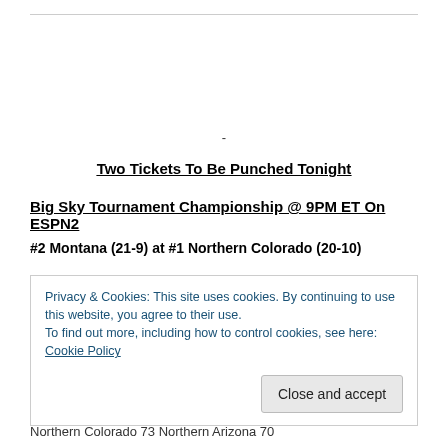-
Two Tickets To Be Punched Tonight
Big Sky Tournament Championship @ 9PM ET On ESPN2
#2 Montana (21-9) at #1 Northern Colorado (20-10)
Privacy & Cookies: This site uses cookies. By continuing to use this website, you agree to their use. To find out more, including how to control cookies, see here: Cookie Policy Close and accept
Northern Colorado 73  Northern Arizona 70